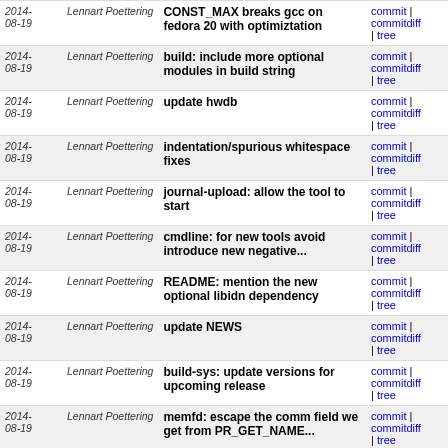| Date | Author | Message | Links |
| --- | --- | --- | --- |
| 2014-08-19 | Lennart Poettering | CONST_MAX breaks gcc on fedora 20 with optimiztation | commit | commitdiff | tree |
| 2014-08-19 | Lennart Poettering | build: include more optional modules in build string | commit | commitdiff | tree |
| 2014-08-19 | Lennart Poettering | update hwdb | commit | commitdiff | tree |
| 2014-08-19 | Lennart Poettering | indentation/spurious whitespace fixes | commit | commitdiff | tree |
| 2014-08-19 | Lennart Poettering | journal-upload: allow the tool to start | commit | commitdiff | tree |
| 2014-08-19 | Lennart Poettering | cmdline: for new tools avoid introduce new negative... | commit | commitdiff | tree |
| 2014-08-19 | Lennart Poettering | README: mention the new optional libidn dependency | commit | commitdiff | tree |
| 2014-08-19 | Lennart Poettering | update NEWS | commit | commitdiff | tree |
| 2014-08-19 | Lennart Poettering | build-sys: update versions for upcoming release | commit | commitdiff | tree |
| 2014-08-19 | Lennart Poettering | memfd: escape the comm field we get from PR_GET_NAME... | commit | commitdiff | tree |
| 2014-08-19 | Lennart Poettering | socket: suffix newly added TCP sockopt time properties... | commit | commitdiff | tree |
next
Unnamed repository; edit this file 'description' to name the repository.
Atom  RSS